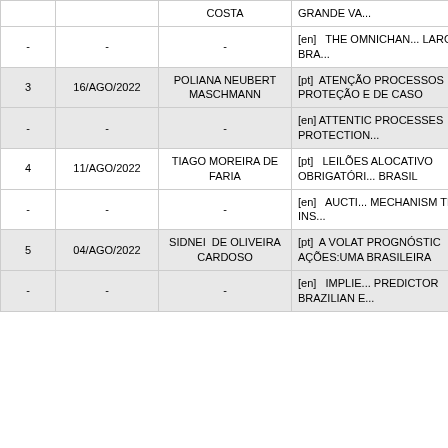| # | Date | Author | Title |
| --- | --- | --- | --- |
|  |  | COSTA | GRANDE VA... |
| - | - | - | [en] THE OMNICHAN... LARGE BRA... |
| 3 | 16/AGO/2022 | POLIANA NEUBERT MASCHMANN | [pt] ATENÇÃO PROCESSOS PROTEÇÃO E DE CASO |
| - | - | - | [en] ATTENTIC PROCESSES PROTECTION... |
| 4 | 11/AGO/2022 | TIAGO MOREIRA DE FARIA | [pt] LEILÕES ALOCATIVO OBRIGATÓRI... BRASIL |
| - | - | - | [en] AUCTI... MECHANISM TRAFFIC INS... |
| 5 | 04/AGO/2022 | SIDNEI DE OLIVEIRA CARDOSO | [pt] A VOLAT PROGNÓSTIC AÇÕES:UMA BRASILEIRA |
| - | - | - | [en] IMPLIE... PREDICTOR BRAZILIAN E... |